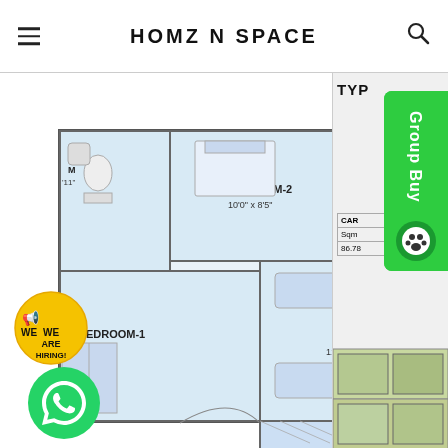HOMZ N SPACE
[Figure (engineering-diagram): Apartment floor plan showing Bedroom-1, Bedroom-2, Foyer (4'1" x 8'9"), Dining (8'7" x 8'10"), Kitchen (8'1" x 8'3"), Living (11'0" x 16'1"), Utility (8'1" x 3'5"), Balcony (11'0" x 4'11"), and Shaft. Entry marked at top with red arrow.]
[Figure (infographic): We Are Hiring badge (yellow circle) and WhatsApp button (green circle) overlaid on floor plan]
[Figure (infographic): Group Buy green button on right side panel]
| CAR |  |
| --- | --- |
| Sqm |  |
| 86.78 |  |